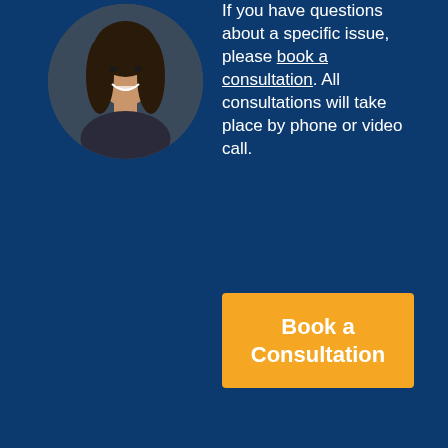[Figure (photo): Circular headshot photo of a woman with long dark hair, smiling, on a dark background]
If you have questions about a specific issue, please book a consultation. All consultations will take place by phone or video call.
Book a Consultation